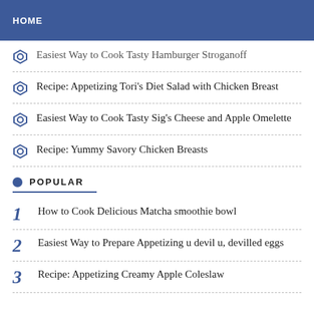HOME
Easiest Way to Cook Tasty Hamburger Stroganoff
Recipe: Appetizing Tori's Diet Salad with Chicken Breast
Easiest Way to Cook Tasty Sig's Cheese and Apple Omelette
Recipe: Yummy Savory Chicken Breasts
POPULAR
1  How to Cook Delicious Matcha smoothie bowl
2  Easiest Way to Prepare Appetizing u devil u, devilled eggs
3  Recipe: Appetizing Creamy Apple Coleslaw